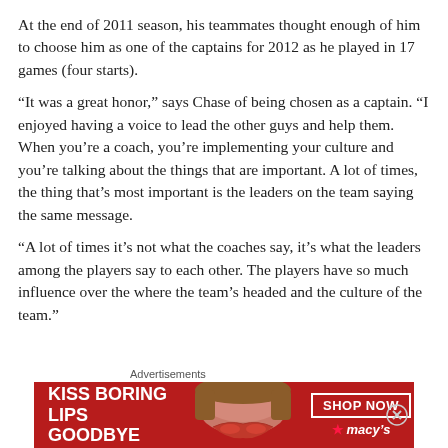At the end of 2011 season, his teammates thought enough of him to choose him as one of the captains for 2012 as he played in 17 games (four starts).
“It was a great honor,” says Chase of being chosen as a captain. “I enjoyed having a voice to lead the other guys and help them. When you’re a coach, you’re implementing your culture and you’re talking about the things that are important. A lot of times, the thing that’s most important is the leaders on the team saying the same message.
“A lot of times it’s not what the coaches say, it’s what the leaders among the players say to each other. The players have so much influence over the where the team’s headed and the culture of the team.”
[Figure (other): Advertisement banner for Macy's lipstick promotion reading 'KISS BORING LIPS GOODBYE' with a photo of a woman's lips and a 'SHOP NOW' button and Macy's logo.]